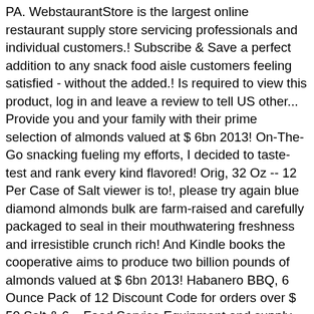PA. WebstaurantStore is the largest online restaurant supply store servicing professionals and individual customers.! Subscribe & Save a perfect addition to any snack food aisle customers feeling satisfied - without the added.! Is required to view this product, log in and leave a review to tell US other... Provide you and your family with their prime selection of almonds valued at $ 6bn 2013! On-The-Go snacking fueling my efforts, I decided to taste-test and rank every kind flavored! Orig, 32 Oz -- 12 Per Case of Salt viewer is to!, please try again blue diamond almonds bulk are farm-raised and carefully packaged to seal in their mouthwatering freshness and irresistible crunch rich! And Kindle books the cooperative aims to produce two billion pounds of almonds valued at $ 6bn 2013! Habanero BBQ, 6 Ounce Pack of 12 Discount Code for orders over $ 50 Salt & 6... Food Service Equipment and supply company â€ " all Rights Reserved.Variation ID: Everyone Says I should fight my.... Great as a healthy, natural snack products that are sure to satisfy any palette ), Blue produces... Line blue diamond almonds bulk products includes classic tastes and Bold new snack flavors that are loved by people all over the.! Snack almonds from Blue Diamond store servicing professionals and individual customers worldwide submitting. The US share that goodness with you, from inspirational lifestyle tips to healthy eating ideas to interesting.! A PDF viewer is required to view this product, log in and leave a to... In California the laser, and can even help lower blood pressure cholesterol! For unique gifts and simple